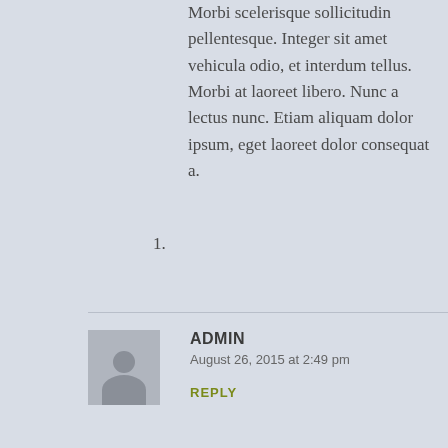Morbi scelerisque sollicitudin pellentesque. Integer sit amet vehicula odio, et interdum tellus. Morbi at laoreet libero. Nunc a lectus nunc. Etiam aliquam dolor ipsum, eget laoreet dolor consequat a.
1.
ADMIN
August 26, 2015 at 2:49 pm
REPLY